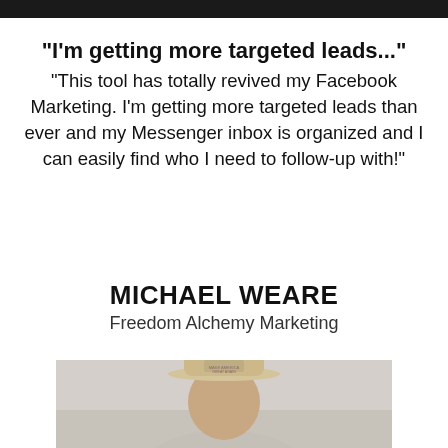"I'm getting more targeted leads..."
"This tool has totally revived my Facebook Marketing. I'm getting more targeted leads than ever and my Messenger inbox is organized and I can easily find who I need to follow-up with!"
MICHAEL WEARE
Freedom Alchemy Marketing
[Figure (photo): Photo of Michael Weare wearing a beige baseball cap with text on it, shown from shoulders up against a light background]